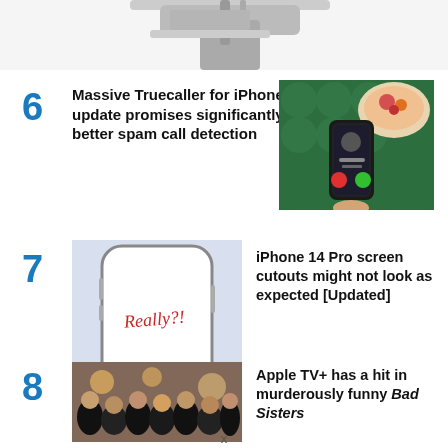[Figure (photo): Partial top image showing a device/accessory with cables on white background, cropped at top of page]
6 Massive Truecaller for iPhone update promises significantly better spam call detection
[Figure (photo): Hand holding an iPhone showing an incoming call screen, with a bowl of food in the background on a green table]
7 iPhone 14 Pro screen cutouts might not look as expected [Updated]
[Figure (illustration): Illustration of an iPhone 14 Pro with text 'Really?!' written in red handwriting on the screen, on a light blue/purple background]
8 Apple TV+ has a hit in murderously funny Bad Sisters
[Figure (photo): Group of women dressed in black posing together for a photo, related to Bad Sisters TV show]
x